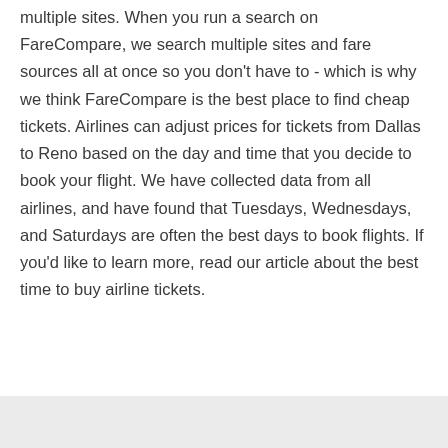multiple sites. When you run a search on FareCompare, we search multiple sites and fare sources all at once so you don't have to - which is why we think FareCompare is the best place to find cheap tickets. Airlines can adjust prices for tickets from Dallas to Reno based on the day and time that you decide to book your flight. We have collected data from all airlines, and have found that Tuesdays, Wednesdays, and Saturdays are often the best days to book flights. If you'd like to learn more, read our article about the best time to buy airline tickets.